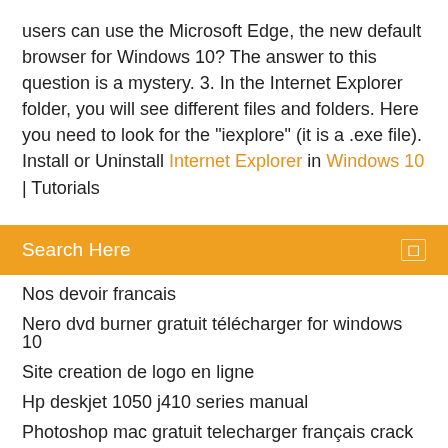users can use the Microsoft Edge, the new default browser for Windows 10? The answer to this question is a mystery. 3. In the Internet Explorer folder, you will see different files and folders. Here you need to look for the "iexplore" (it is a .exe file). Install or Uninstall Internet Explorer in Windows 10 | Tutorials
Search Here
Nos devoir francais
Nero dvd burner gratuit télécharger for windows 10
Site creation de logo en ligne
Hp deskjet 1050 j410 series manual
Photoshop mac gratuit telecharger français crack
The cw network app apk
Call of duty 1 télécharger pc games 88
Télécharger clean master for windows 8.1 64 bit
Comment creer un nouveau pseudo sur skype
Logiciel hp psc 1510 tout en un
Nero express windows 10 télécharger